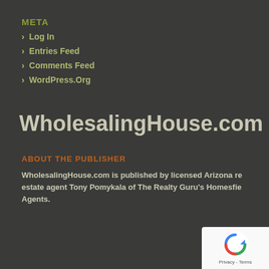META
> Log In
> Entries Feed
> Comments Feed
> WordPress.Org
WholesalingHouse.com
ABOUT THE PUBLISHER
WholesalingHouse.com is published by licensed Arizona real estate agent Tony Pomykala of The Realty Guru's Homesfield Agents.